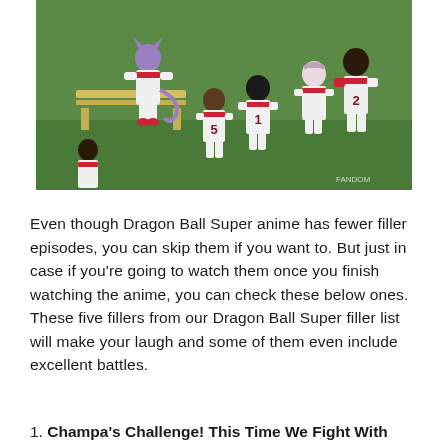[Figure (illustration): Anime screenshot from Dragon Ball Super showing characters in baseball uniforms with numbers 1, 2, 5 on their backs, along with Beerus (a cat-like purple alien deity), standing near a wooden bench on a grass field.]
Even though Dragon Ball Super anime has fewer filler episodes, you can skip them if you want to. But just in case if you're going to watch them once you finish watching the anime, you can check these below ones. These five fillers from our Dragon Ball Super filler list will make your laugh and some of them even include excellent battles.
1. Champa's Challenge! This Time We Fight With